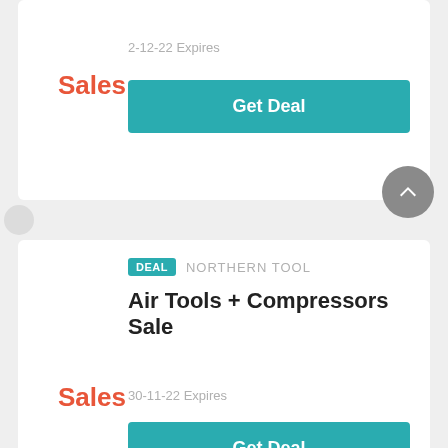Sales
2-12-22 Expires
Get Deal
DEAL  NORTHERN TOOL
Air Tools + Compressors Sale
Sales
30-11-22 Expires
Get Deal
DEAL  NORTHERN TOOL
Obtain Up To 5% Off Honda Generators
5%
21-10-22 Expires